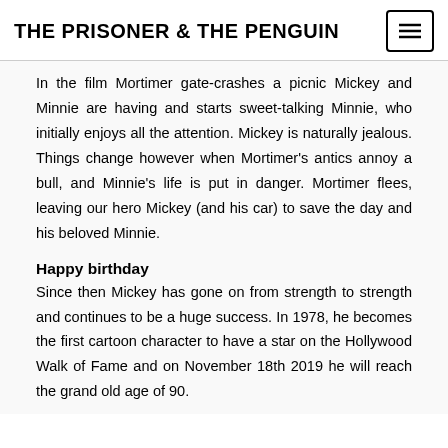THE PRISONER & THE PENGUIN
In the film Mortimer gate-crashes a picnic Mickey and Minnie are having and starts sweet-talking Minnie, who initially enjoys all the attention. Mickey is naturally jealous. Things change however when Mortimer's antics annoy a bull, and Minnie's life is put in danger. Mortimer flees, leaving our hero Mickey (and his car) to save the day and his beloved Minnie.
Happy birthday
Since then Mickey has gone on from strength to strength and continues to be a huge success. In 1978, he becomes the first cartoon character to have a star on the Hollywood Walk of Fame and on November 18th 2019 he will reach the grand old age of 90.